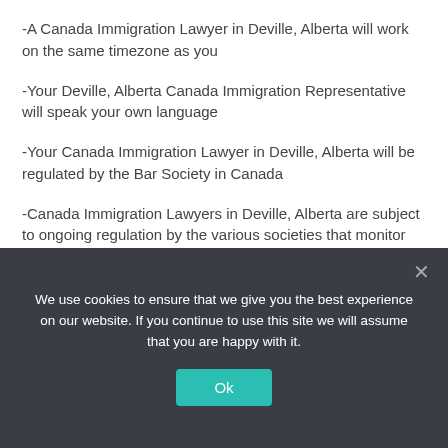-A Canada Immigration Lawyer in Deville, Alberta will work on the same timezone as you
-Your Deville, Alberta Canada Immigration Representative will speak your own language
-Your Canada Immigration Lawyer in Deville, Alberta will be regulated by the Bar Society in Canada
-Canada Immigration Lawyers in Deville, Alberta are subject to ongoing regulation by the various societies that monitor the legal profession. You can verify your Deville, Alberta Canada Immigration Attorney and their status on the websites of the provincial bar associations which have licensed them to practice in Canada.
Every time the IRCC has a question about your Canada visa application this creates a significant delay. It often means your application is sent back to you and you need to reapply. Your Deville, Alberta based Canada Immigration Attorney should
We use cookies to ensure that we give you the best experience on our website. If you continue to use this site we will assume that you are happy with it.